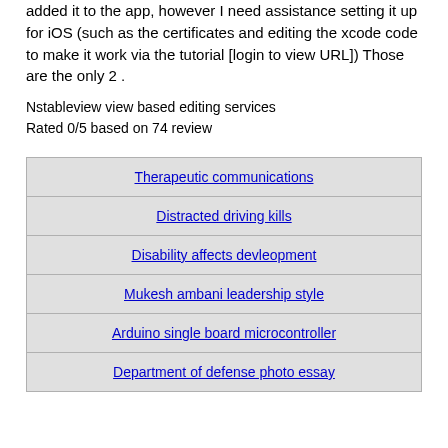added it to the app, however I need assistance setting it up for iOS (such as the certificates and editing the xcode code to make it work via the tutorial [login to view URL]) Those are the only 2 .
Nstableview view based editing services
Rated 0/5 based on 74 review
| Therapeutic communications |
| Distracted driving kills |
| Disability affects devleopment |
| Mukesh ambani leadership style |
| Arduino single board microcontroller |
| Department of defense photo essay |